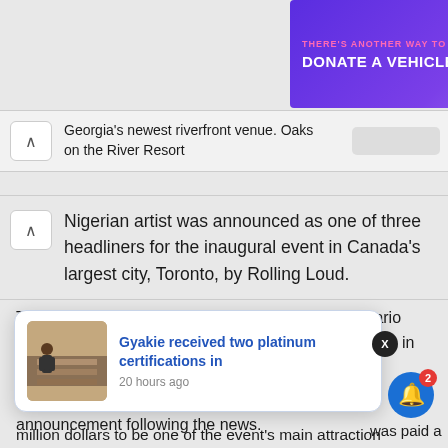[Figure (other): Advertisement banner: purple background with text 'THERE'S ANOTHER WAY TO GIVE! DONATE A VEHICLE' with a pink 'GIVE TODAY' button and a white car illustration.]
Georgia's newest riverfront venue. Oaks on the River Resort
Nigerian artist was announced as one of three headliners for the inaugural event in Canada's largest city, Toronto, by Rolling Loud.
The three-day concert, which will take place at Ontario Place, a 15,000-person capacity outdoor music venue in the center of Toronto, will include Wizkid, Dave, and Future as headliners.
Wizkid used social media to make a stunning announcement following the news.
[Figure (photo): Notification popup with thumbnail photo showing a person near wooden boards, with blue link text 'Gyakie received two platinum certifications in' and timestamp '20 hours ago']
was paid a million dollars to be one of the event's main attraction